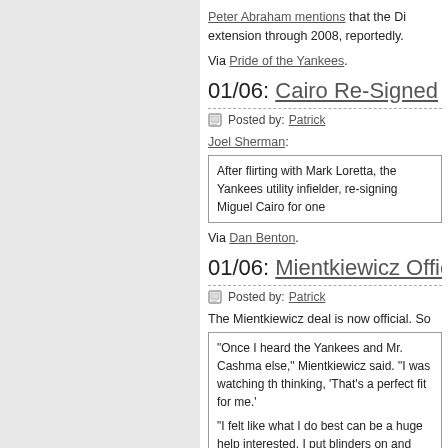Peter Abraham mentions that the Di extension through 2008, reportedly.
Via Pride of the Yankees.
01/06: Cairo Re-Signed
Posted by: Patrick
Joel Sherman:
After flirting with Mark Loretta, the Yankees utility infielder, re-signing Miguel Cairo for one
Via Dan Benton.
01/06: Mientkiewicz Official
Posted by: Patrick
The Mientkiewicz deal is now official. So
"Once I heard the Yankees and Mr. Cashma else," Mientkiewicz said. "I was watching th thinking, 'That's a perfect fit for me.'
"I felt like what I do best can be a huge help interested, I put blinders on and said, 'Let's jus
"I think every kid dreams of playing for the